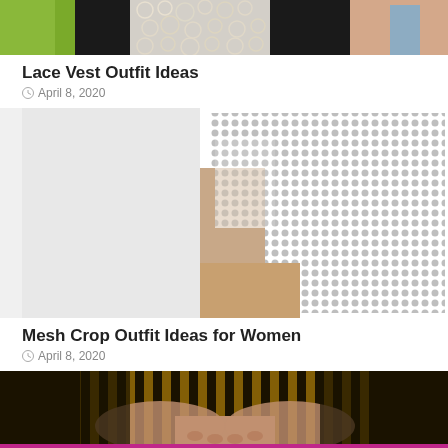[Figure (photo): Cropped photo of a woman wearing a black outfit with white lace vest overlay, holding a green object, partially visible from chest up.]
Lace Vest Outfit Ideas
April 8, 2020
[Figure (photo): Close-up photo of a woman wearing a white mesh crop top with a dotted/net texture, showing torso and arms. Background is light gray/white.]
Mesh Crop Outfit Ideas for Women
April 8, 2020
[Figure (photo): Cropped photo of a person wearing a black and gold striped sheer top, hands clasped at waist, visible from waist to mid-torso.]